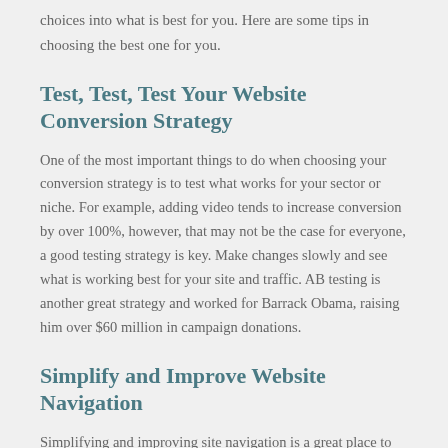choices into what is best for you. Here are some tips in choosing the best one for you.
Test, Test, Test Your Website Conversion Strategy
One of the most important things to do when choosing your conversion strategy is to test what works for your sector or niche. For example, adding video tends to increase conversion by over 100%, however, that may not be the case for everyone, a good testing strategy is key. Make changes slowly and see what is working best for your site and traffic. AB testing is another great strategy and worked for Barrack Obama, raising him over $60 million in campaign donations.
Simplify and Improve Website Navigation
Simplifying and improving site navigation is a great place to start. If your site is not converting the way